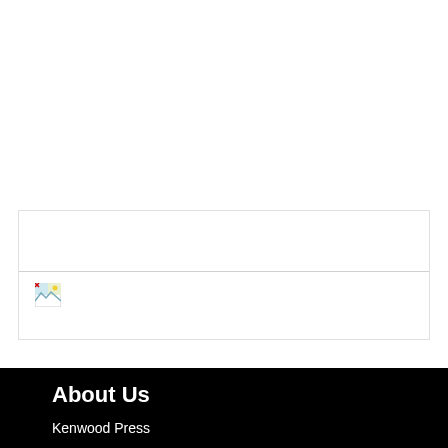[Figure (other): Broken/missing image placeholder with a small icon showing a landscape thumbnail broken link icon]
About Us
Kenwood Press